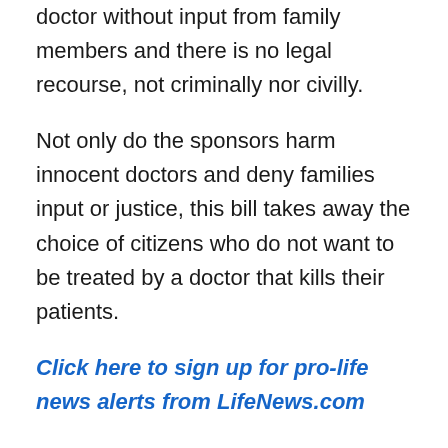doctor without input from family members and there is no legal recourse, not criminally nor civilly.
Not only do the sponsors harm innocent doctors and deny families input or justice, this bill takes away the choice of citizens who do not want to be treated by a doctor that kills their patients.
Click here to sign up for pro-life news alerts from LifeNews.com
As ethical doctors lose their licenses or flee the state, there will be only one type practicing.
Wisconsin is not the first state to attempt to force doctors to refer for assisted suicide. Vermont also forced doctors to refer for assisted suicide but in May